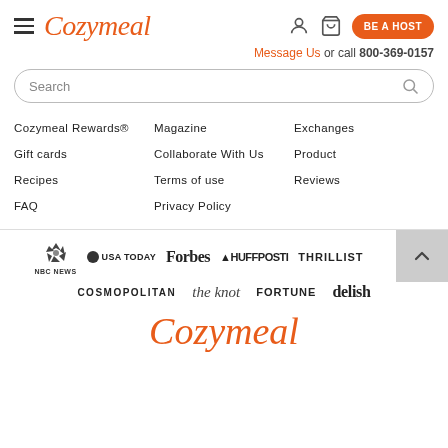Cozymeal — navigation header with hamburger menu, logo, user icon, cart icon, BE A HOST button
Message Us or call 800-369-0157
Search
Cozymeal Rewards®
Gift cards
Recipes
FAQ
Magazine
Collaborate With Us
Terms of use
Privacy Policy
Exchanges
Product
Reviews
[Figure (logo): Press/media logos: NBC News, USA TODAY, Forbes, HuffPost, Thrillist, Cosmopolitan, the knot, FORTUNE, delish]
[Figure (logo): Cozymeal logo in orange italic script at bottom]